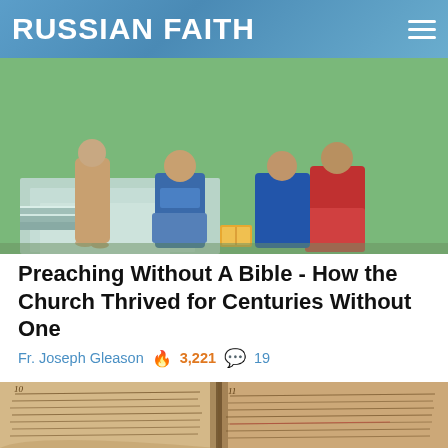RUSSIAN FAITH
[Figure (illustration): Byzantine/Orthodox style religious painting showing robed figures on steps, one kneeling, others seated, with colorful robes in blue and red against a green landscape background.]
Preaching Without A Bible - How the Church Thrived for Centuries Without One
Fr. Joseph Gleason 🔥 3,221 💬 19
[Figure (photo): Close-up photograph of an open old Bible or religious text showing yellowed pages with dense Slavonic or old script text, pages curved open at the spine.]